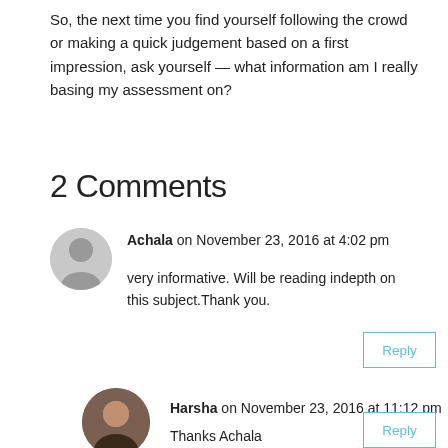So, the next time you find yourself following the crowd or making a quick judgement based on a first impression, ask yourself — what information am I really basing my assessment on?
2 Comments
Achala on November 23, 2016 at 4:02 pm
very informative. Will be reading indepth on this subject.Thank you.
Harsha on November 23, 2016 at 11:12 pm
Thanks Achala